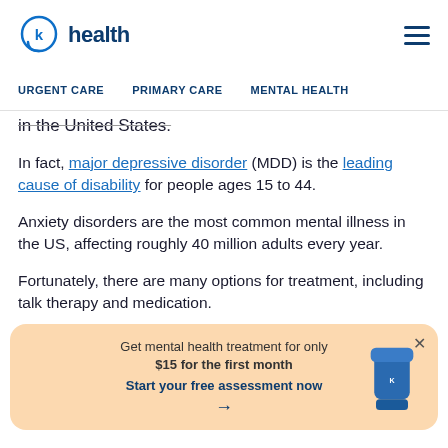k health | URGENT CARE | PRIMARY CARE | MENTAL HEALTH
in the United States.
In fact, major depressive disorder (MDD) is the leading cause of disability for people ages 15 to 44.
Anxiety disorders are the most common mental illness in the US, affecting roughly 40 million adults every year.
Fortunately, there are many options for treatment, including talk therapy and medication.
Se... e a t... co... h by healthcare providers.
[Figure (infographic): Popup banner with peach/orange background showing 'Get mental health treatment for only $15 for the first month' with 'Start your free assessment now' CTA and arrow, plus a blue pill bottle image on the right, and an X close button.]